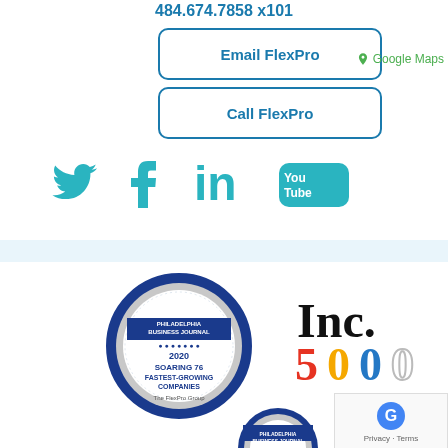484.674.7858 x101
Email FlexPro
Call FlexPro
Google Maps
[Figure (illustration): Social media icons: Twitter (bird), Facebook (f), LinkedIn (in), YouTube (play button with 'You Tube' text), all in teal/cyan color]
[Figure (illustration): Philadelphia Business Journal 2020 Soaring 76 Fastest-Growing Companies badge for The FlexPro Group, circular medallion with dark blue border]
[Figure (logo): Inc. 5000 logo with 'Inc.' in black bold text and '5000' in colorful letters (red, yellow, blue, outline)]
[Figure (illustration): Partial circular badge at bottom, appears to be another award medallion]
[Figure (other): reCAPTCHA box with Google logo, Privacy and Terms links]